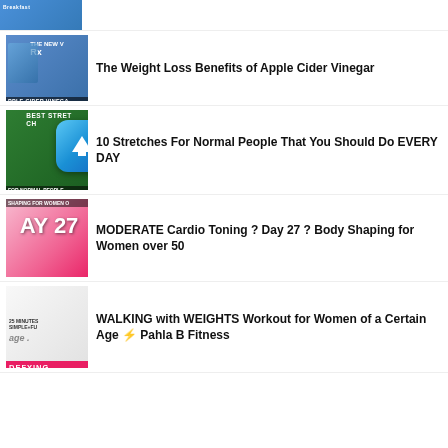[Figure (screenshot): Partial thumbnail at top of page - blue/TV screenshot]
[Figure (screenshot): Apple Cider Vinegar TV segment thumbnail with text PPLE CIDER VINEGA at bottom]
The Weight Loss Benefits of Apple Cider Vinegar
[Figure (screenshot): Best Stretches for Normal People thumbnail with blue up-arrow app icon overlay]
10 Stretches For Normal People That You Should Do EVERY DAY
[Figure (screenshot): Body Shaping for Women over 50 - Day 27 thumbnail with pink background]
MODERATE Cardio Toning ? Day 27 ? Body Shaping for Women over 50
[Figure (screenshot): Walking with Weights - Age Defying thumbnail with blonde woman]
WALKING with WEIGHTS Workout for Women of a Certain Age ⚡ Pahla B Fitness